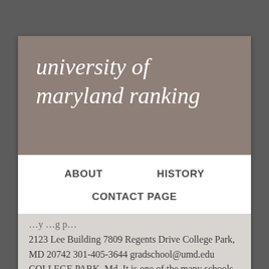university of maryland ranking
ABOUT
HISTORY
CONTACT PAGE
2123 Lee Building 7809 Regents Drive College Park, MD 20742 301-405-3644 gradschool@umd.edu COLLEGE PARK, Md. It is one of the many schools College Consensus looked at and gave easy … View University of